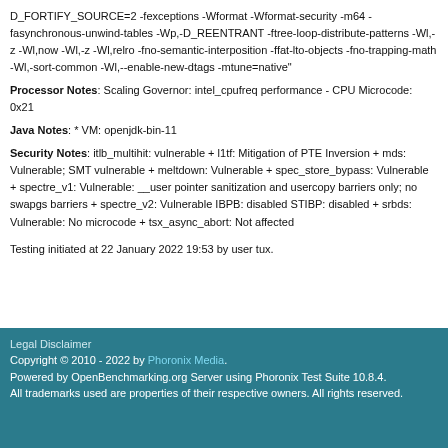D_FORTIFY_SOURCE=2 -fexceptions -Wformat -Wformat-security -m64 -fasynchronous-unwind-tables -Wp,-D_REENTRANT -ftree-loop-distribute-patterns -Wl,-z -Wl,now -Wl,-z -Wl,relro -fno-semantic-interposition -ffat-lto-objects -fno-trapping-math -Wl,-sort-common -Wl,--enable-new-dtags -mtune=native"
Processor Notes: Scaling Governor: intel_cpufreq performance - CPU Microcode: 0x21
Java Notes: * VM: openjdk-bin-11
Security Notes: itlb_multihit: vulnerable + l1tf: Mitigation of PTE Inversion + mds: Vulnerable; SMT vulnerable + meltdown: Vulnerable + spec_store_bypass: Vulnerable + spectre_v1: Vulnerable: __user pointer sanitization and usercopy barriers only; no swapgs barriers + spectre_v2: Vulnerable IBPB: disabled STIBP: disabled + srbds: Vulnerable: No microcode + tsx_async_abort: Not affected
Testing initiated at 22 January 2022 19:53 by user tux.
Legal Disclaimer
Copyright © 2010 - 2022 by Phoronix Media.
Powered by OpenBenchmarking.org Server using Phoronix Test Suite 10.8.4.
All trademarks used are properties of their respective owners. All rights reserved.